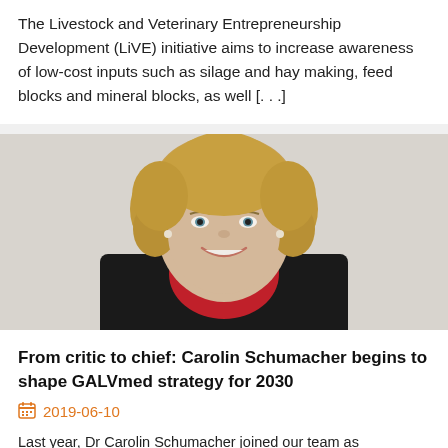The Livestock and Veterinary Entrepreneurship Development (LiVE) initiative aims to increase awareness of low-cost inputs such as silage and hay making, feed blocks and mineral blocks, as well [. . .]
[Figure (photo): Portrait photo of a woman with curly blonde hair, smiling, wearing a black jacket and red top/collar, against a light background.]
From critic to chief: Carolin Schumacher begins to shape GALVmed strategy for 2030
2019-06-10
Last year, Dr Carolin Schumacher joined our team as